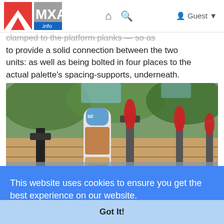MXA.info — navigation bar with logo, home icon, search icon, Guest menu
clamped to the platform planks — so as to provide a solid connection between the two units: as well as being bolted in four places to the actual palette's spacing-supports, underneath.
[Figure (photo): Outdoor workshop photo showing clamps with red handles and a glue bottle on wooden planks, with green foliage in background]
This website uses cookies to ensure you get the best experience on our website.
Learn More
Got It!
es" and found a lovely old piece of Piranha pine from